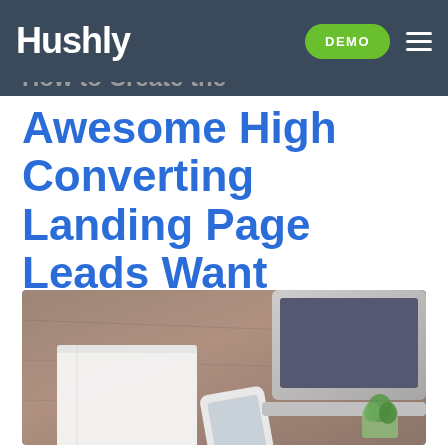Hushly
How to Create the Awesome High Converting Landing Page Leads Want
[Figure (photo): Overhead flat-lay photo of a wooden desk with an open notebook, a smartphone, a laptop computer (MacBook), and a small green succulent plant]